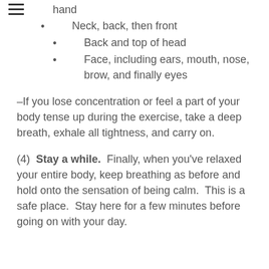hand
Neck, back, then front
Back and top of head
Face, including ears, mouth, nose, brow, and finally eyes
–If you lose concentration or feel a part of your body tense up during the exercise, take a deep breath, exhale all tightness, and carry on.
(4)  Stay a while.  Finally, when you've relaxed your entire body, keep breathing as before and hold onto the sensation of being calm.  This is a safe place.  Stay here for a few minutes before going on with your day.